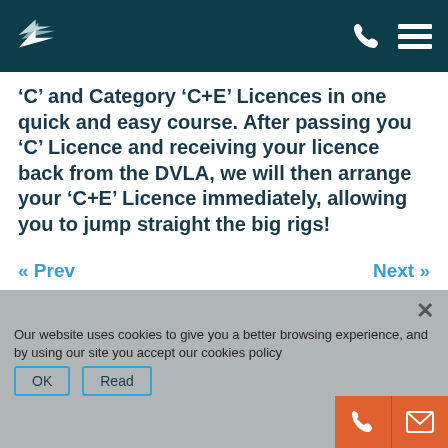Header bar with logo and navigation icons
‘C’ and Category ‘C+E’ Licences in one quick and easy course. After passing you ‘C’ Licence and receiving your licence back from the DVLA, we will then arrange your ‘C+E’ Licence immediately, allowing you to jump straight the big rigs!
« Prev    Next »
Our website uses cookies to give you a better browsing experience, and by using our site you accept our cookies policy